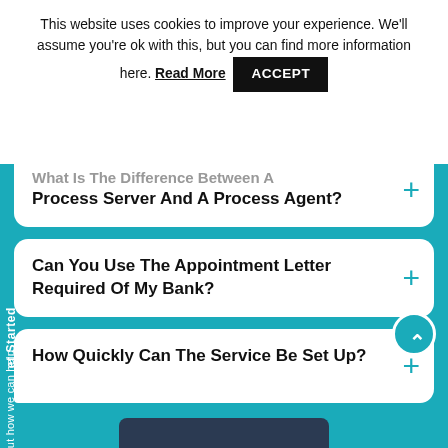This website uses cookies to improve your experience. We'll assume you're ok with this, but you can find more information here. Read More ACCEPT
What Is The Difference Between A Process Server And A Process Agent?
Can You Use The Appointment Letter Required Of My Bank?
How Quickly Can The Service Be Set Up?